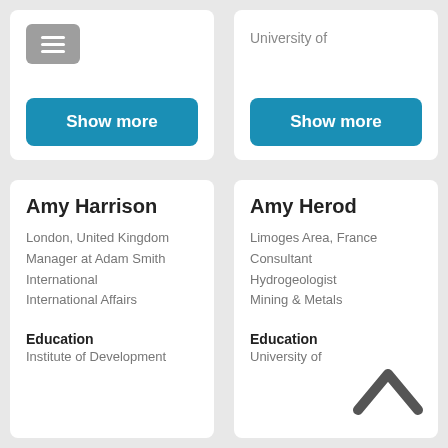[Figure (screenshot): Menu icon (hamburger button) in gray rounded rectangle]
Show more
University of
Show more
Amy Harrison
London, United Kingdom
Manager at Adam Smith International
International Affairs
Education
Institute of Development
Amy Herod
Limoges Area, France
Consultant Hydrogeologist
Mining & Metals
Education
University of